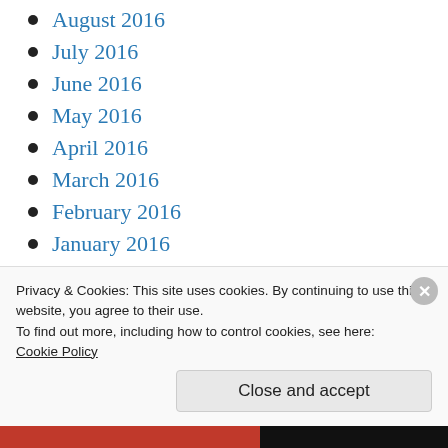August 2016
July 2016
June 2016
May 2016
April 2016
March 2016
February 2016
January 2016
December 2015
November 2015
October 2015 (partial)
Privacy & Cookies: This site uses cookies. By continuing to use this website, you agree to their use.
To find out more, including how to control cookies, see here:
Cookie Policy
Close and accept